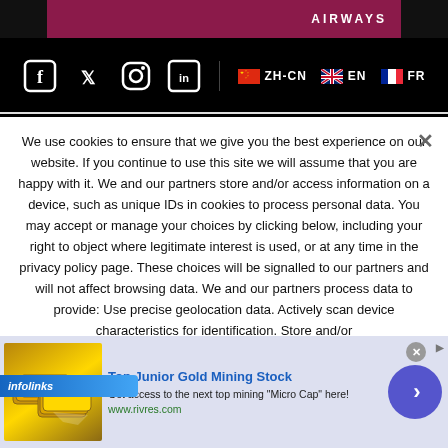[Figure (screenshot): Airways airline banner with dark red/maroon background and AIRWAYS text in white]
[Figure (screenshot): Social media icons (Facebook, Twitter, Instagram, LinkedIn) and language selectors (ZH-CN with Chinese flag, EN with UK flag, FR with French flag) on black background]
We use cookies to ensure that we give you the best experience on our website. If you continue to use this site we will assume that you are happy with it. We and our partners store and/or access information on a device, such as unique IDs in cookies to process personal data. You may accept or manage your choices by clicking below, including your right to object where legitimate interest is used, or at any time in the privacy policy page. These choices will be signalled to our partners and will not affect browsing data. We and our partners process data to provide: Use precise geolocation data. Actively scan device characteristics for identification. Store and/or
[Figure (screenshot): Infolinks advertisement bar with blue gradient background]
[Figure (screenshot): Advertisement for Top Junior Gold Mining Stock showing gold bars image, text 'Get access to the next top mining Micro Cap here!' and www.rivres.com URL, with blue circle arrow button]